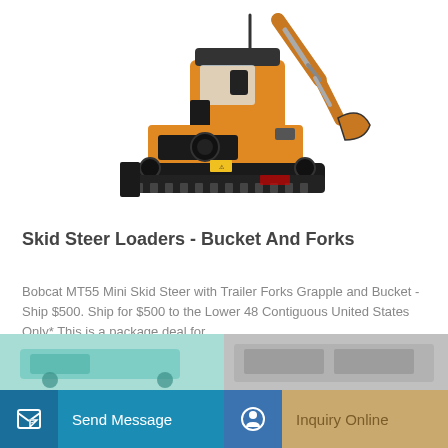[Figure (photo): Orange and black mini excavator / tracked equipment on white background, with arm raised and bucket attachment visible]
Skid Steer Loaders - Bucket And Forks
Bobcat MT55 Mini Skid Steer with Trailer Forks Grapple and Bucket - Ship $500. Ship for $500 to the Lower 48 Contiguous United States Only* This is a package deal for ...
Learn More
Send Message
Inquiry Online